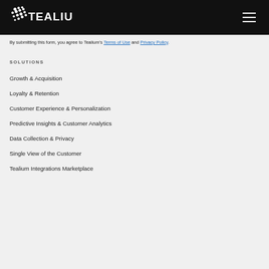Tealium
By submitting this form, you agree to Tealium's Terms of Use and Privacy Policy.
SOLUTIONS
Growth & Acquisition
Loyalty & Retention
Customer Experience & Personalization
Predictive Insights & Customer Analytics
Data Collection & Privacy
Single View of the Customer
Tealium Integrations Marketplace